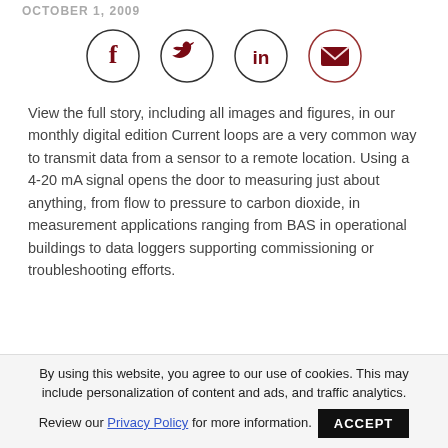OCTOBER 1, 2009
[Figure (illustration): Four social sharing icons in circles: Facebook (f), Twitter (bird), LinkedIn (in), Email (envelope), all in dark red/maroon color.]
View the full story, including all images and figures, in our monthly digital edition Current loops are a very common way to transmit data from a sensor to a remote location. Using a 4-20 mA signal opens the door to measuring just about anything, from flow to pressure to carbon dioxide, in measurement applications ranging from BAS in operational buildings to data loggers supporting commissioning or troubleshooting efforts.
By using this website, you agree to our use of cookies. This may include personalization of content and ads, and traffic analytics. Review our Privacy Policy for more information. ACCEPT